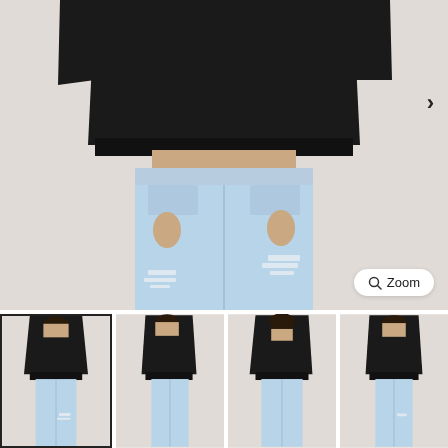[Figure (photo): Main product photo showing a model from torso down wearing a black cropped short-sleeve top and light blue ripped/distressed jeans. Background is light beige/grey. A right-chevron navigation arrow is visible on the right side. A Zoom button with magnifier icon is in the bottom right corner.]
[Figure (photo): Thumbnail 1 (selected/active, with border): Front view of a female model wearing black cropped tee and light blue ripped jeans.]
[Figure (photo): Thumbnail 2: Side/three-quarter view of female model wearing black cropped tee and light blue jeans.]
[Figure (photo): Thumbnail 3: Back view of female model wearing black cropped tee and light blue jeans.]
[Figure (photo): Thumbnail 4: Front view of female model wearing black cropped tee and light blue jeans, slightly different angle.]